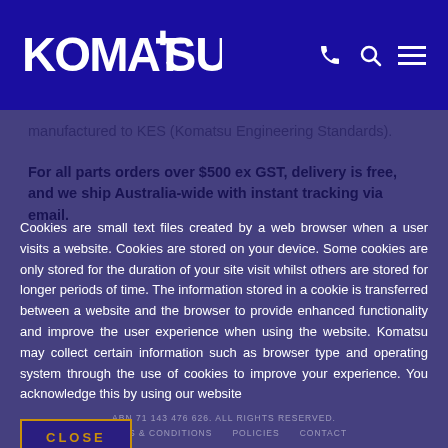[Figure (logo): Komatsu logo in white on dark blue/navy header bar with phone, search, and menu icons]
manufactured to KES (Komatsu Engineering Standards).
For all parts orders over $500 ex GST, delivery is free, and we ship Australia-wide with instant tracking via email.
Cookies are small text files created by a web browser when a user visits a website. Cookies are stored on your device. Some cookies are only stored for the duration of your site visit whilst others are stored for longer periods of time. The information stored in a cookie is transferred between a website and the browser to provide enhanced functionality and improve the user experience when using the website. Komatsu may collect certain information such as browser type and operating system through the use of cookies to improve your experience. You acknowledge this by using our website
ABN 71 143 476 626. ALL RIGHTS RESERVED.
TERMS & CONDITIONS   POLICIES   CONTACT